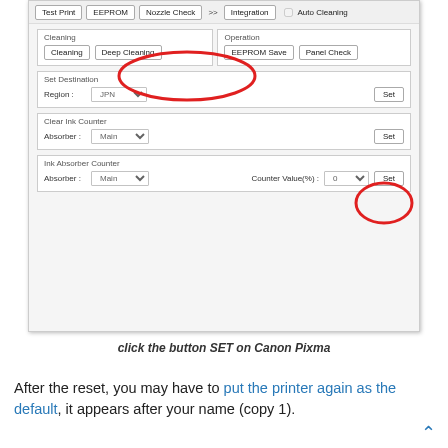[Figure (screenshot): Canon Pixma service tool dialog showing Cleaning, Set Destination, Clear Ink Counter, and Ink Absorber Counter sections. Red circles highlight the Deep Cleaning button and Set button in Clear Ink Counter section.]
click the button SET on Canon Pixma
After the reset, you may have to put the printer again as the default, it appears after your name (copy 1).